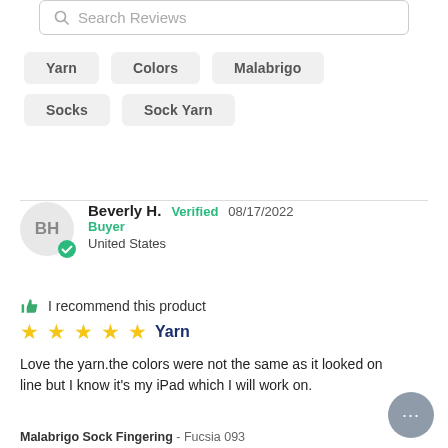Search Reviews
Yarn
Colors
Malabrigo
Socks
Sock Yarn
Beverly H.  Verified Buyer  08/17/2022  United States
I recommend this product
★★★★★ Yarn
Love the yarn.the colors were not the same as it looked on line but I know it's my iPad which I will work on.
Malabrigo Sock Fingering - Fucsia 093